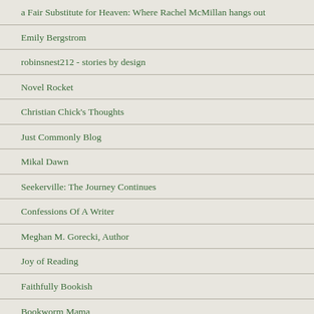a Fair Substitute for Heaven: Where Rachel McMillan hangs out
Emily Bergstrom
robinsnest212 - stories by design
Novel Rocket
Christian Chick's Thoughts
Just Commonly Blog
Mikal Dawn
Seekerville: The Journey Continues
Confessions Of A Writer
Meghan M. Gorecki, Author
Joy of Reading
Faithfully Bookish
Bookworm Mama
Author Jennifer Rodewald
It's Story Time With Van Daniker!